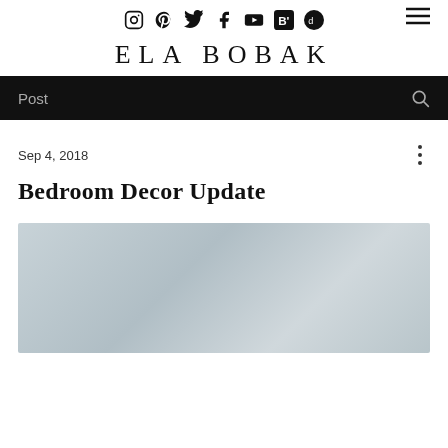ELA BOBAK — social icons and navigation bar
ELA BOBAK
Post
Sep 4, 2018
Bedroom Decor Update
[Figure (photo): Blurred/soft bedroom photo, light blue-grey tones]